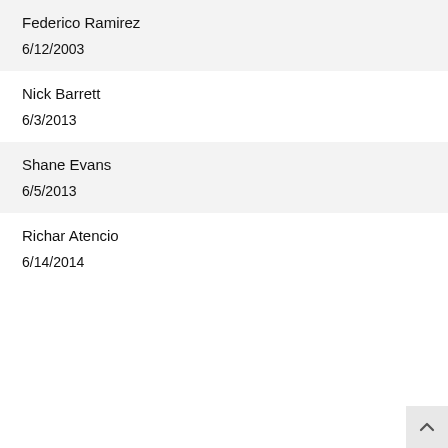Federico Ramirez
6/12/2003
Nick Barrett
6/3/2013
Shane Evans
6/5/2013
Richar Atencio
6/14/2014